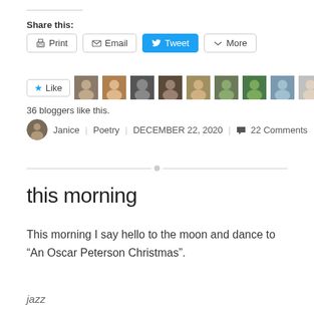Share this:
[Figure (screenshot): Share buttons: Print, Email, Tweet, More]
[Figure (screenshot): Like button with star icon and 10 blogger avatar photos]
36 bloggers like this.
Janice | Poetry | DECEMBER 22, 2020 | 22 Comments
this morning
This morning I say hello to the moon and dance to “An Oscar Peterson Christmas”.
jazz